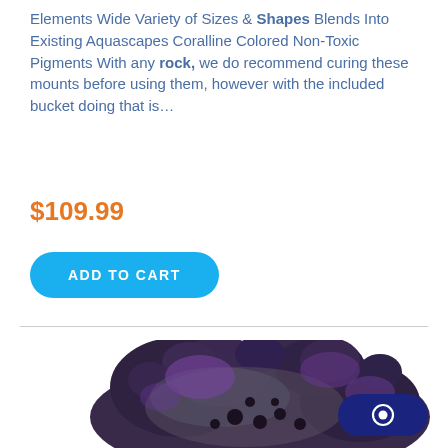Elements Wide Variety of Sizes & Shapes Blends Into Existing Aquascapes Coralline Colored Non-Toxic Pigments With any rock, we do recommend curing these mounts before using them, however with the included bucket doing that is…
$109.99
ADD TO CART
[Figure (photo): A porous dark purple/grey aquarium rock with holes, positioned in the lower left portion of the page.]